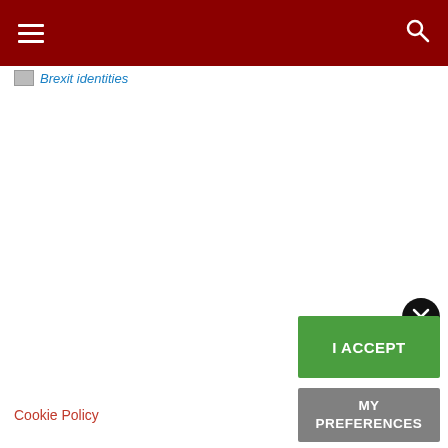Navigation header with hamburger menu and search icon
Brexit identities
[Figure (other): Close button (×) in black circle]
I ACCEPT
MY PREFERENCES
Cookie Policy